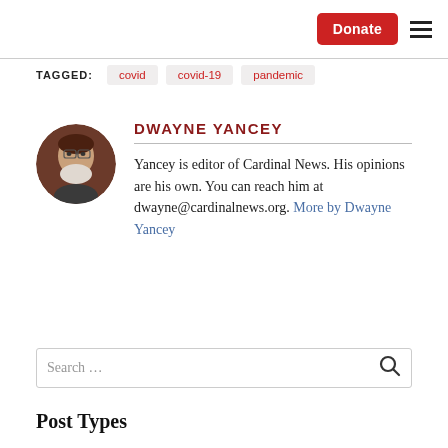TAGGED: covid  covid-19  pandemic
[Figure (photo): Circular avatar portrait of Dwayne Yancey, an older man with white beard and glasses]
DWAYNE YANCEY
Yancey is editor of Cardinal News. His opinions are his own. You can reach him at dwayne@cardinalnews.org. More by Dwayne Yancey
Search …
Post Types